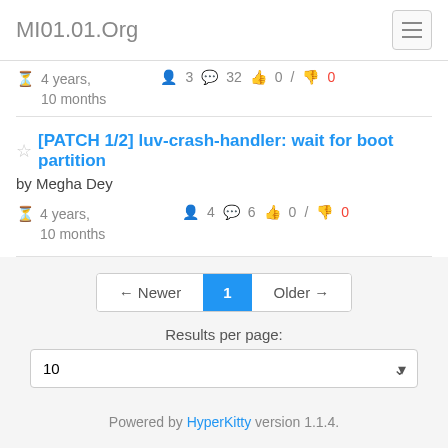MI01.01.Org
4 years, 10 months   3  32  0 / 0
[PATCH 1/2] luv-crash-handler: wait for boot partition
by Megha Dey
4 years, 10 months   4  6  0 / 0
← Newer  1  Older →
Results per page:
10
Powered by HyperKitty version 1.1.4.